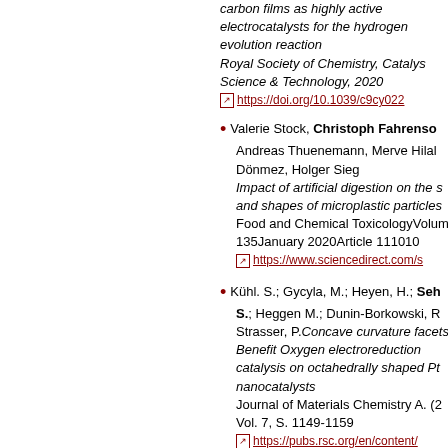carbon films as highly active electrocatalysts for the hydrogen evolution reaction Royal Society of Chemistry, Catalysis Science & Technology, 2020 https://doi.org/10.1039/c9cy022...
Valerie Stock, Christoph Fahrenso..., Andreas Thuenemann, Merve Hilal Dönmez, Holger Sieg Impact of artificial digestion on the s... and shapes of microplastic particles Food and Chemical ToxicologyVolume 135January 2020Article 111010 https://www.sciencedirect.com/s...
Kühl S.; Gycyla, M.; Heyen, H.; Seh... S.; Heggen M.; Dunin-Borkowski, R... Strasser, P. Concave curvature facets... Benefit Oxygen electroreduction catalysis on octahedrally shaped Pt... nanocatalysts Journal of Materials Chemistry A. (2... Vol. 7, S. 1149-1159 https://pubs.rsc.org/en/content/...
S. Raman; C. Keil; P. Dieringer; Ch... Hübner; A. Bueno; P. Gurikov; J. Nissen; M. Holtkamp; U. Karst; H. Haase; I. Smirnova Alginate aerogels carrying calcium,...